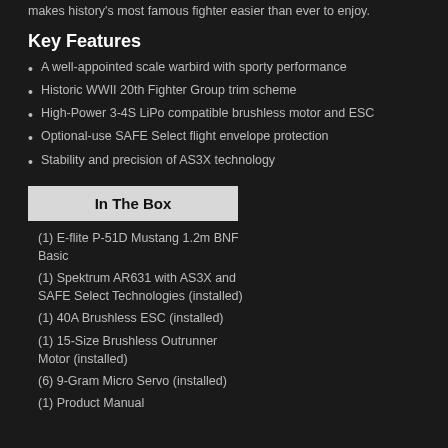makes history's most famous fighter easier than ever to enjoy.
Key Features
A well-appointed scale warbird with sporty performance
Historic WWII 20th Fighter Group trim scheme
High-Power 3-4S LiPo compatible brushless motor and ESC
Optional-use SAFE Select flight envelope protection
Stability and precision of AS3X technology
In The Box
(1) E-flite P-51D Mustang 1.2m BNF Basic
(1) Spektrum AR631 with AS3X and SAFE Select Technologies (installed)
(1) 40A Brushless ESC (installed)
(1) 15-Size Brushless Outrunner Motor (installed)
(6) 9-Gram Micro Servo (installed)
(1) Product Manual